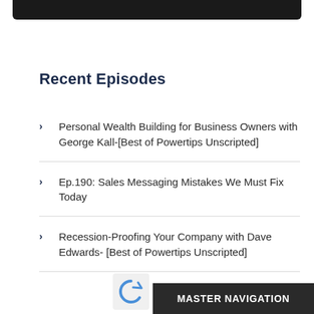[Figure (other): Dark/black top bar element at top of page]
Recent Episodes
Personal Wealth Building for Business Owners with George Kall-[Best of Powertips Unscripted]
Ep.190: Sales Messaging Mistakes We Must Fix Today
Recession-Proofing Your Company with Dave Edwards- [Best of Powertips Unscripted]
MASTER NAVIGATION